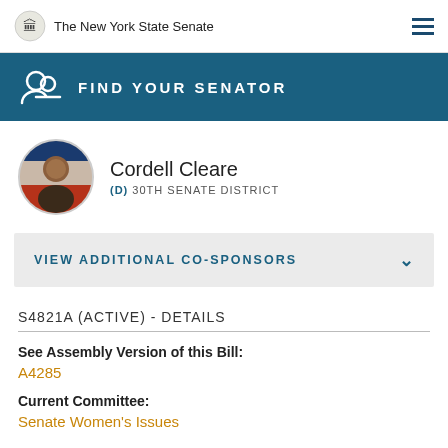The New York State Senate
FIND YOUR SENATOR
[Figure (photo): Headshot photo of Senator Cordell Cleare]
Cordell Cleare
(D) 30TH SENATE DISTRICT
VIEW ADDITIONAL CO-SPONSORS
S4821A (ACTIVE) - DETAILS
See Assembly Version of this Bill:
A4285
Current Committee:
Senate Women's Issues